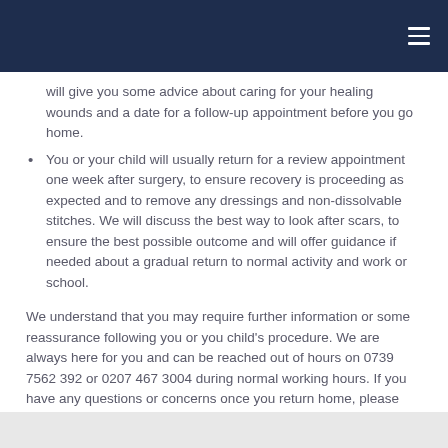will give you some advice about caring for your healing wounds and a date for a follow-up appointment before you go home.
You or your child will usually return for a review appointment one week after surgery, to ensure recovery is proceeding as expected and to remove any dressings and non-dissolvable stitches. We will discuss the best way to look after scars, to ensure the best possible outcome and will offer guidance if needed about a gradual return to normal activity and work or school.
We understand that you may require further information or some reassurance following you or you child’s procedure. We are always here for you and can be reached out of hours on 0739 7562 392 or 0207 467 3004 during normal working hours. If you have any questions or concerns once you return home, please don’t hesitate to contact us.